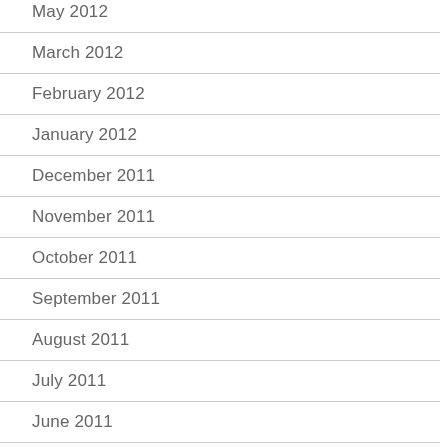May 2012
March 2012
February 2012
January 2012
December 2011
November 2011
October 2011
September 2011
August 2011
July 2011
June 2011
May 2011
April 2011